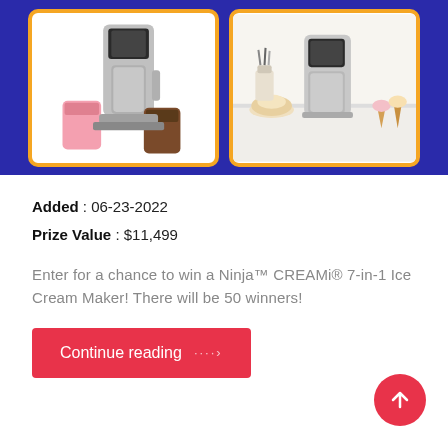[Figure (photo): Blue background promotional banner showing two Ninja CREAMi ice cream maker product images, each in white cards with orange borders. Left card shows the machine with a pink pint container and a chocolate pint. Right card shows the machine on a kitchen counter with ice cream cones and bowls.]
Added : 06-23-2022
Prize Value : $11,499
Enter for a chance to win a Ninja™ CREAMi® 7-in-1 Ice Cream Maker! There will be 50 winners!
Continue reading ····›